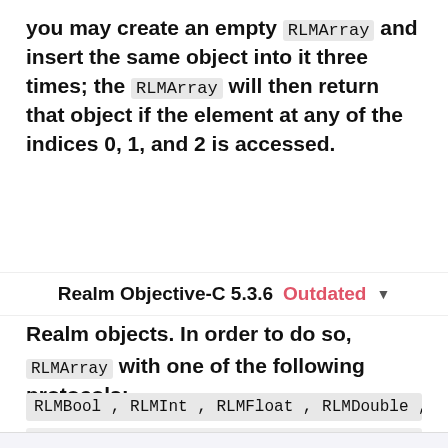you may create an empty RLMArray and insert the same object into it three times; the RLMArray will then return that object if the element at any of the indices 0, 1, and 2 is accessed.
Realm Objective-C 5.3.6  Outdated ▾
Realm objects. In order to do so, constrain a RLMArray with one of the following protocols:
RLMBool , RLMInt , RLMFloat , RLMDouble ,
This website uses cookies to ensure you get the best experience on our website.
Learn more
Got it!
array required as well.